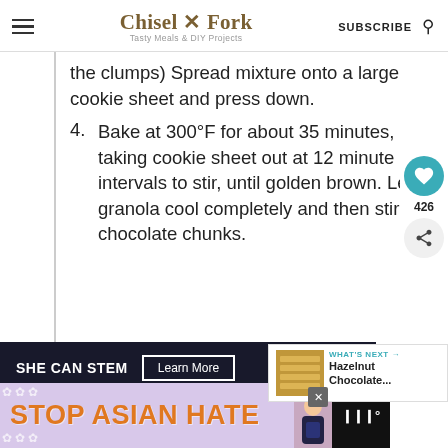Chisel & Fork — Tasty Meals & DIY Projects | SUBSCRIBE
the clumps) Spread mixture onto a large cookie sheet and press down.
4. Bake at 300°F for about 35 minutes, taking cookie sheet out at 12 minute intervals to stir, until golden brown. Let granola cool completely and then stir in chocolate chunks.
[Figure (other): SHE CAN STEM advertisement banner with Learn More button]
[Figure (other): STOP ASIAN HATE advertisement banner with floral decorations and illustrated character]
[Figure (other): What's Next panel showing Hazelnut Chocolate... thumbnail]